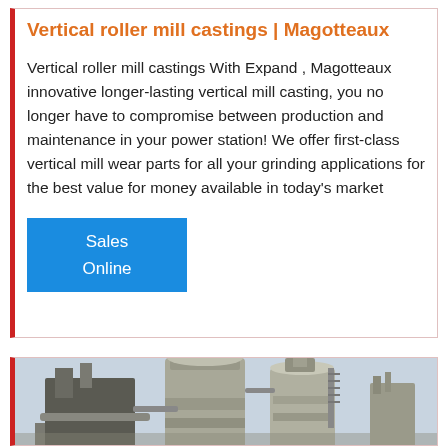Vertical roller mill castings | Magotteaux
Vertical roller mill castings With Expand , Magotteaux innovative longer-lasting vertical mill casting, you no longer have to compromise between production and maintenance in your power station! We offer first-class vertical mill wear parts for all your grinding applications for the best value for money available in today's market
Sales
Online
[Figure (photo): Industrial vertical roller mill / silo structures photographed from below against a light sky background, showing large cylindrical metal silos and connecting pipework.]